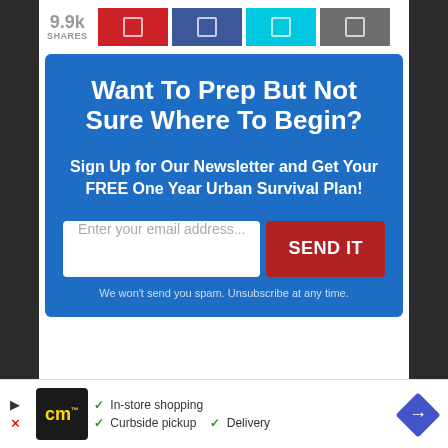9.9k SHARES
[Figure (infographic): Social share buttons: Pinterest (red), Facebook (dark blue), Twitter (cyan), Email (grey)]
Want To Prep But Not Sure Where To Begin?
Sign Up for Our Newsletter and Get Your FREE One Year Urban Survival Plan!
Enter your email address... [SEND IT]
We won't send you spam. Unsubscribe at any time.
[Figure (infographic): Advertisement banner: cm store logo, In-store shopping, Curbside pickup, Delivery, with blue diamond navigation icon]